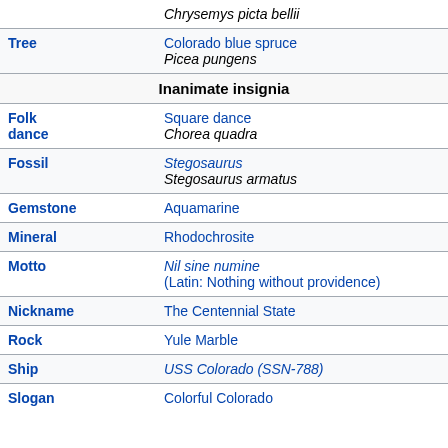| Category | Value |
| --- | --- |
|  | Chrysemys picta bellii |
| Tree | Colorado blue spruce
Picea pungens |
| Inanimate insignia |  |
| Folk dance | Square dance
Chorea quadra |
| Fossil | Stegosaurus
Stegosaurus armatus |
| Gemstone | Aquamarine |
| Mineral | Rhodochrosite |
| Motto | Nil sine numine
(Latin: Nothing without providence) |
| Nickname | The Centennial State |
| Rock | Yule Marble |
| Ship | USS Colorado (SSN-788) |
| Slogan | Colorful Colorado |